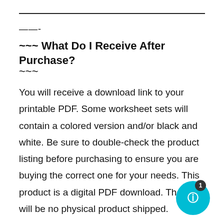——-
~~~ What Do I Receive After Purchase?
~~~
You will receive a download link to your printable PDF. Some worksheet sets will contain a colored version and/or black and white. Be sure to double-check the product listing before purchasing to ensure you are buying the correct one for your needs. This product is a digital PDF download. There will be no physical product shipped.